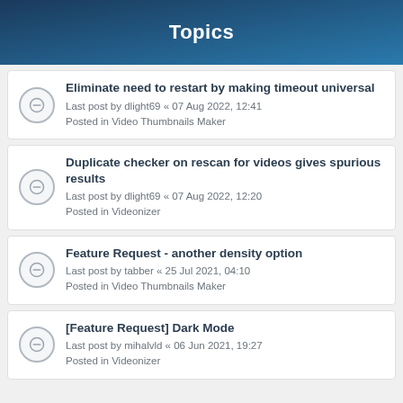Topics
Eliminate need to restart by making timeout universal
Last post by dlight69 « 07 Aug 2022, 12:41
Posted in Video Thumbnails Maker
Duplicate checker on rescan for videos gives spurious results
Last post by dlight69 « 07 Aug 2022, 12:20
Posted in Videonizer
Feature Request - another density option
Last post by tabber « 25 Jul 2021, 04:10
Posted in Video Thumbnails Maker
[Feature Request] Dark Mode
Last post by mihalvld « 06 Jun 2021, 19:27
Posted in Videonizer